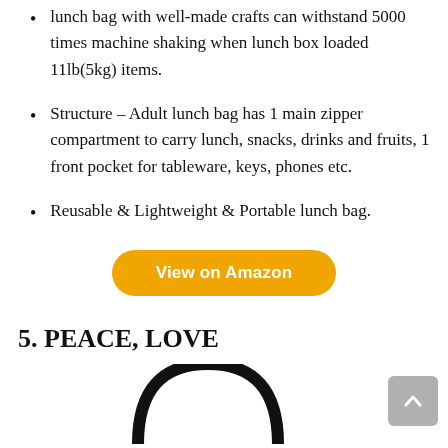lunch bag with well-made crafts can withstand 5000 times machine shaking when lunch box loaded 11lb(5kg) items.
Structure – Adult lunch bag has 1 main zipper compartment to carry lunch, snacks, drinks and fruits, 1 front pocket for tableware, keys, phones etc.
Reusable & Lightweight & Portable lunch bag.
View on Amazon
5. PEACE, LOVE
[Figure (photo): Partial view of a product (arch-shaped top of a lunch bag) at the bottom of the page]